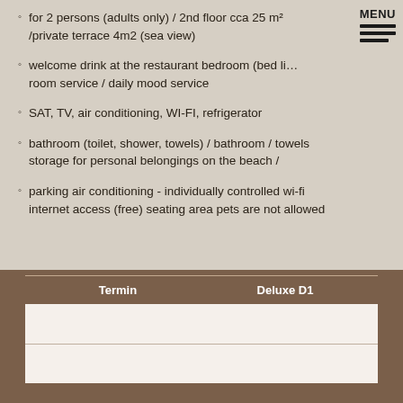for 2 persons (adults only) / 2nd floor cca 25 m2 /private terrace 4m2 (sea view)
welcome drink at the restaurant bedroom (bed li... room service / daily mood service
SAT, TV, air conditioning, WI-FI, refrigerator
bathroom (toilet, shower, towels) / bathroom / towels storage for personal belongings on the beach /
parking air conditioning - individually controlled wi-fi internet access (free) seating area pets are not allowed
| Termin | Deluxe D1 |
| --- | --- |
|  |  |
|  |  |